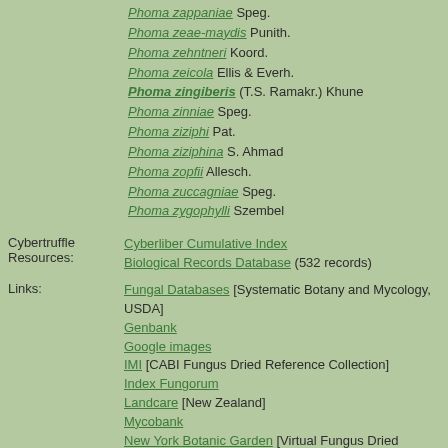Phoma zappaniae Speg.
Phoma zeae-maydis Punith.
Phoma zehntneri Koord.
Phoma zeicola Ellis & Everh.
Phoma zingiberis (T.S. Ramakr.) Khune
Phoma zinniae Speg.
Phoma ziziphi Pat.
Phoma ziziphina S. Ahmad
Phoma zopfii Allesch.
Phoma zuccagniae Speg.
Phoma zygophylli Szembel
Cybertruffle Resources: Cyberliber Cumulative Index | Biological Records Database (532 records)
Links: Fungal Databases [Systematic Botany and Mycology, USDA] | Genbank | Google images | IMI [CABI Fungus Dried Reference Collection] | Index Fungorum | Landcare [New Zealand] | Mycobank | New York Botanic Garden [Virtual Fungus Dried Reference Collection]
Previous page | Home page